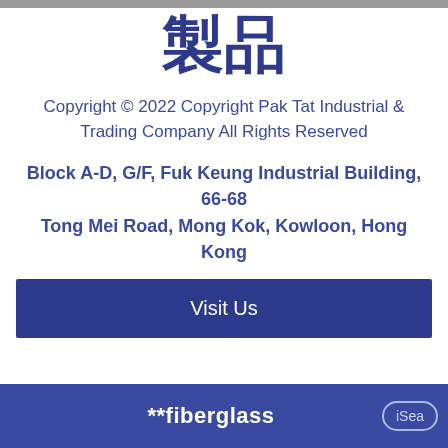[Figure (logo): Chinese characters logo showing 製品 in dark blue on white background]
Copyright © 2022 Copyright Pak Tat Industrial & Trading Company All Rights Reserved
Block A-D, G/F, Fuk Keung Industrial Building, 66-68 Tong Mei Road, Mong Kok, Kowloon, Hong Kong
Visit Us
**fiberglass